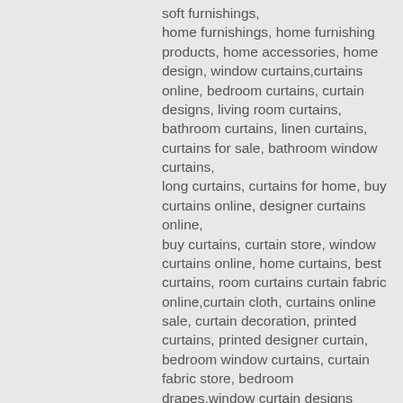soft furnishings, home furnishings, home furnishing products, home accessories, home design, window curtains,curtains online, bedroom curtains, curtain designs, living room curtains, bathroom curtains, linen curtains, curtains for sale, bathroom window curtains, long curtains, curtains for home, buy curtains online, designer curtains online, buy curtains, curtain store, window curtains online, home curtains, best curtains, room curtains curtain fabric online,curtain cloth, curtains online sale, curtain decoration, printed curtains, printed designer curtain, bedroom window curtains, curtain fabric store, bedroom drapes,window curtain designs curtain designs for bedroom, curtain designs for living room, best curtains for living room designer curtains for living room, long window curtains, designer curtain fabric,best curtains for bedroom, bedroom curtains and drapes, best curtains online home decor curtains, living room window curtains, printed curtain fabric, window curtain fabric, curtains and fabrics, curtain cloth designs, window curtains, best curtain fabric,